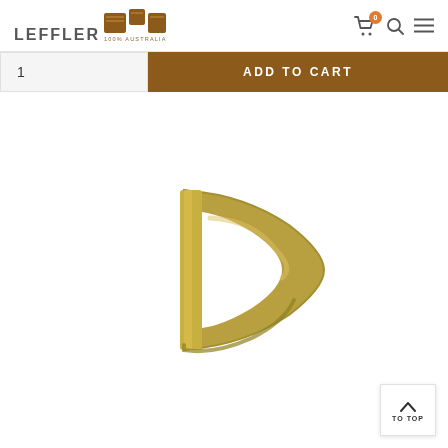LEFFLER 100% AUSTRALIAN OWNED
1
ADD TO CART
[Figure (photo): Gold/brass colored D-ring metal hardware piece, photographed on white background]
TO TOP